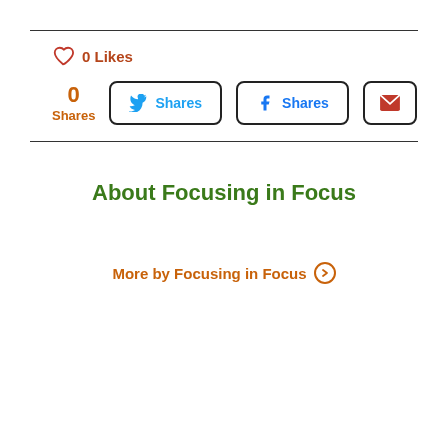[Figure (other): Horizontal rule divider line at top]
0 Likes
[Figure (other): Share buttons row: 0 Shares count, Twitter Shares button, Facebook Shares button, Email button]
[Figure (other): Horizontal rule divider line]
About Focusing in Focus
More by Focusing in Focus ⊙